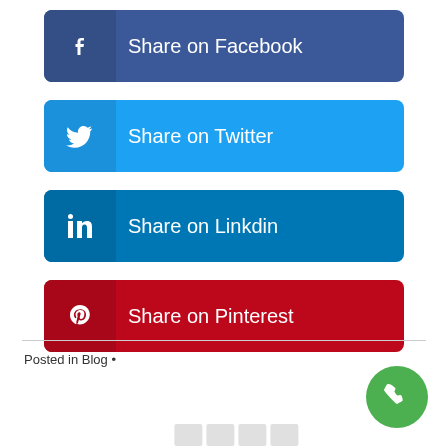[Figure (infographic): Share on Facebook button with Facebook logo icon on dark blue background]
[Figure (infographic): Share on Twitter button with Twitter bird icon on light blue background]
[Figure (infographic): Share on Linkdin button with LinkedIn icon on medium blue background]
[Figure (infographic): Share on Pinterest button with Pinterest P icon on dark red background]
Posted in Blog •
[Figure (illustration): Green circular phone/call button icon in bottom right corner]
[Figure (other): Pagination boxes at the bottom of the page]